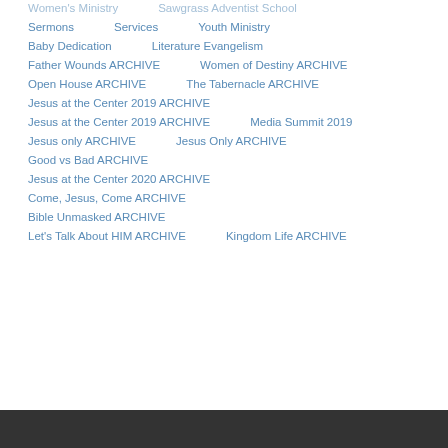Women's Ministry | Sawgrass Adventist School
Sermons | Services | Youth Ministry
Baby Dedication | Literature Evangelism
Father Wounds ARCHIVE | Women of Destiny ARCHIVE
Open House ARCHIVE | The Tabernacle ARCHIVE
Jesus at the Center 2019 ARCHIVE
Jesus at the Center 2019 ARCHIVE | Media Summit 2019
Jesus only ARCHIVE | Jesus Only ARCHIVE
Good vs Bad ARCHIVE
Jesus at the Center 2020 ARCHIVE
Come, Jesus, Come ARCHIVE
Bible Unmasked ARCHIVE
Let's Talk About HIM ARCHIVE | Kingdom Life ARCHIVE